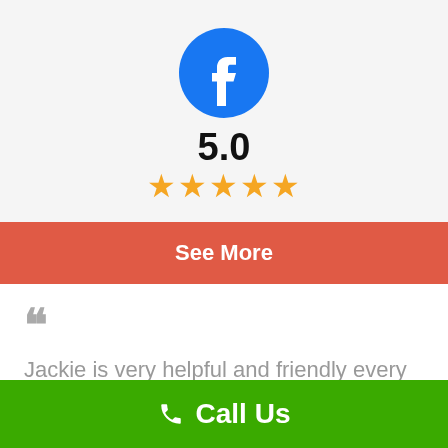[Figure (logo): Facebook circular logo icon, blue background with white lowercase f]
5.0
[Figure (infographic): Five gold star rating icons]
See More
““
Jackie is very helpful and friendly every time I call. She answers all my questions. She is very professional and knowledgeable.
Call Us